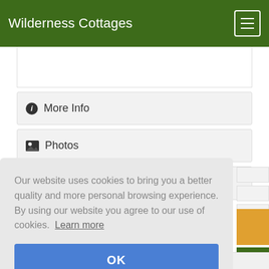Wilderness Cottages
More Info
Photos
Map
Our website uses cookies to bring you a better quality and more personal browsing experience. By using our website you agree to our use of cookies. Learn more
OK